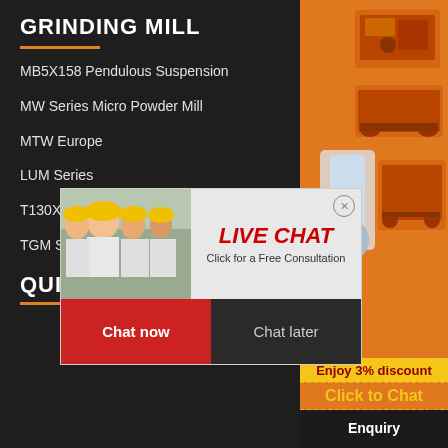GRINDING MILL
MB5X158 Pendulous Suspension
MW Series Micro Powder Mill
MTW Europe
LUM Series
T130X Superfine Grinding Mill
TGM Super Pressure Trapezium Mi
QUICK LINKS
[Figure (screenshot): Live Chat popup overlay showing workers in hard hats, LIVE CHAT text in red italic, Click for a Free Consultation, Chat now (red button) and Chat later buttons]
[Figure (infographic): Orange sidebar panel with machinery images, Enjoy 3% discount yellow bar, Click to Chat text, and Enquiry bar]